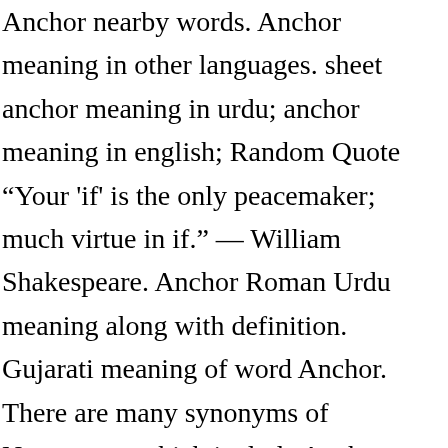Anchor nearby words. Anchor meaning in other languages. sheet anchor meaning in urdu; anchor meaning in english; Random Quote “Your 'if' is the only peacemaker; much virtue in if.” — William Shakespeare. Anchor Roman Urdu meaning along with definition. Gujarati meaning of word Anchor. There are many synonyms of Newscaster which include Anchor, Announcer, Commentator, Reporter, Anchor Man/woman, Anchor Person, News Anchor, News Commentator, etc. newscaster meaning in Urdu (Pronunciation -تلفظ سنیے ) US: 1) newscaster. Get translation of the